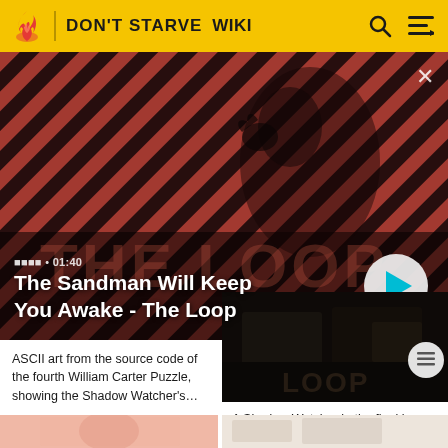DON'T STARVE WIKI
[Figure (screenshot): Hero banner showing The Sandman Will Keep You Awake - The Loop video with diagonal red and dark striped background and a dark-clad figure with a raven, duration 01:40]
The Sandman Will Keep You Awake - The Loop
ASCII art from the source code of the fourth William Carter Puzzle, showing the Shadow Watcher's…
[Figure (screenshot): A Shadow Watcher in the final image of the eighth William Carter Puzzle - dark scene screenshot]
A Shadow Watcher in the final image of the eighth William Carter Puzzle.
[Figure (photo): Bottom left thumbnail showing a pinkish/salmon colored image]
[Figure (photo): Bottom right thumbnail showing a light colored image]